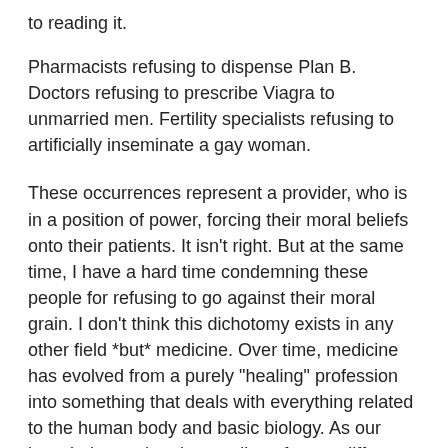to reading it.
Pharmacists refusing to dispense Plan B. Doctors refusing to prescribe Viagra to unmarried men. Fertility specialists refusing to artificially inseminate a gay woman.
These occurrences represent a provider, who is in a position of power, forcing their moral beliefs onto their patients. It isn’t right. But at the same time, I have a hard time condemning these people for refusing to go against their moral grain. I don’t think this dichotomy exists in any other field *but* medicine. Over time, medicine has evolved from a purely “healing” profession into something that deals with everything related to the human body and basic biology. As our knowledge and understanding of many different fields of science and social science blend with our knowledge of what has been traditionally labeled medicine (physiology, pathophysiology, microbiology, etc.), these responsibilities have changed.